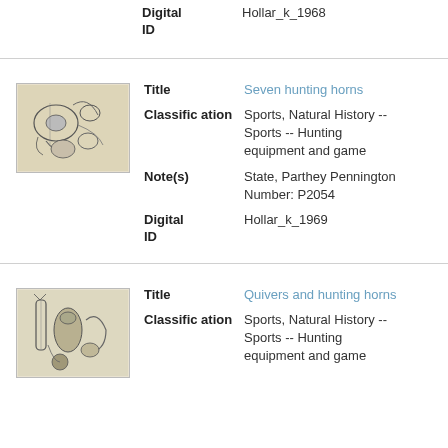Digital ID: Hollar_k_1968
[Figure (illustration): Small thumbnail of seven hunting horns sketch]
Title: Seven hunting horns
Classification: Sports, Natural History -- Sports -- Hunting equipment and game
Note(s): State, Parthey Pennington Number: P2054
Digital ID: Hollar_k_1969
[Figure (illustration): Small thumbnail of quivers and hunting horns sketch]
Title: Quivers and hunting horns
Classification: Sports, Natural History -- Sports -- Hunting equipment and game